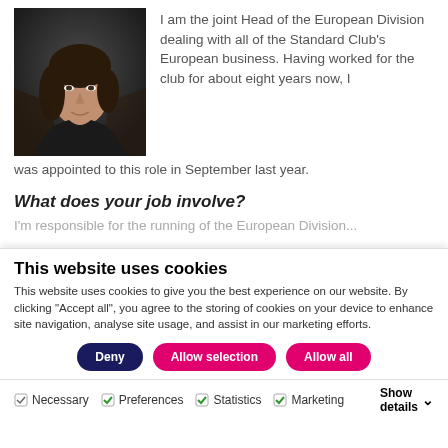[Figure (photo): Professional headshot of a woman with dark hair, against a dark background]
I am the joint Head of the European Division dealing with all of the Standard Club's European business. Having worked for the club for about eight years now, I was appointed to this role in September last year.
What does your job involve?
I'm responsible for the running of the European Division...
This website uses cookies
This website uses cookies to give you the best experience on our website. By clicking “Accept all”, you agree to the storing of cookies on your device to enhance site navigation, analyse site usage, and assist in our marketing efforts.
Deny | Allow selection | Allow all
Necessary  Preferences  Statistics  Marketing  Show details